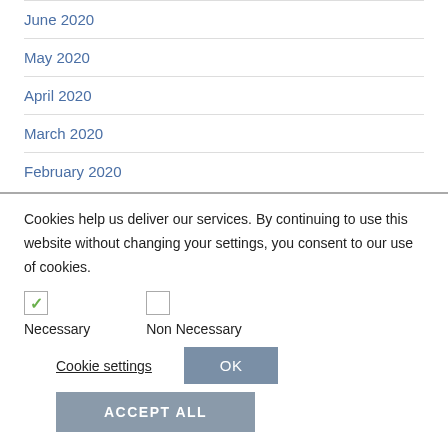June 2020
May 2020
April 2020
March 2020
February 2020
Cookies help us deliver our services. By continuing to use this website without changing your settings, you consent to our use of cookies.
Necessary   Non Necessary
Cookie settings   OK
ACCEPT ALL